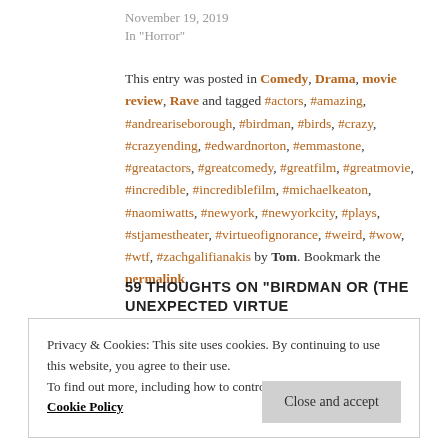November 19, 2019
In "Horror"
This entry was posted in Comedy, Drama, movie review, Rave and tagged #actors, #amazing, #andreariseborough, #birdman, #birds, #crazy, #crazyending, #edwardnorton, #emmastone, #greatactors, #greatcomedy, #greatfilm, #greatmovie, #incredible, #incrediblefilm, #michaelkeaton, #naomiwatts, #newyork, #newyorkcity, #plays, #stjamestheater, #virtueofignorance, #weird, #wow, #wtf, #zachgalifianakis by Tom. Bookmark the permalink.
59 THOUGHTS ON “BIRDMAN OR (THE UNEXPECTED VIRTUE
Privacy & Cookies: This site uses cookies. By continuing to use this website, you agree to their use.
To find out more, including how to control cookies, see here: Cookie Policy
Close and accept